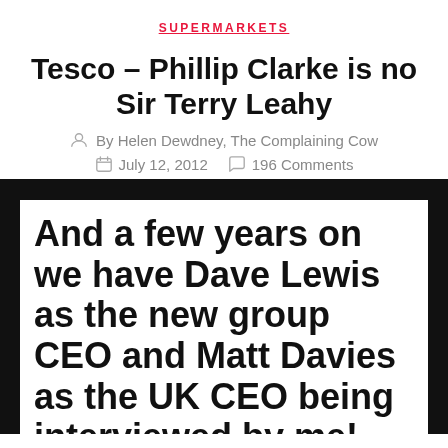SUPERMARKETS
Tesco – Phillip Clarke is no Sir Terry Leahy
By Helen Dewdney, The Complaining Cow
July 12, 2012   196 Comments
And a few years on we have Dave Lewis as the new group CEO and Matt Davies as the UK CEO being interviewed by me! (Although Tesco had full editorial